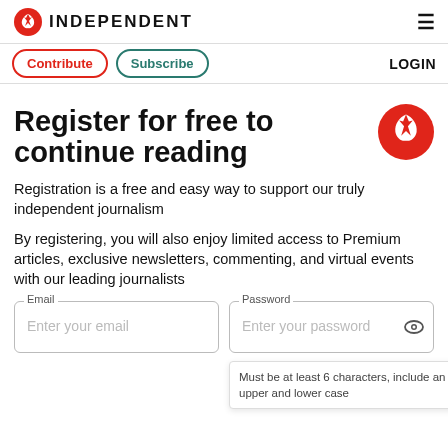INDEPENDENT
Contribute  Subscribe  LOGIN
Register for free to continue reading
Registration is a free and easy way to support our truly independent journalism
By registering, you will also enjoy limited access to Premium articles, exclusive newsletters, commenting, and virtual events with our leading journalists
Email field: Enter your email | Password field: Enter your password
Must be at least 6 characters, include an upper and lower case